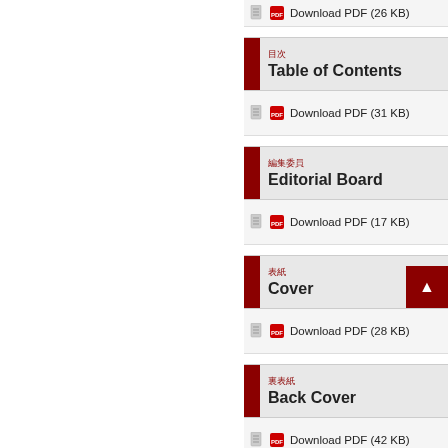Download PDF (26 KB)
目次 Table of Contents
Download PDF (31 KB)
編集委員 Editorial Board
Download PDF (17 KB)
表紙 Cover
Download PDF (28 KB)
裏表紙 Back Cover
Download PDF (42 KB)